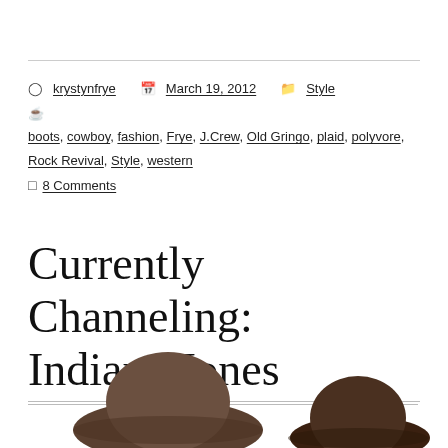krystynfrye   March 19, 2012   Style
boots, cowboy, fashion, Frye, J.Crew, Old Gringo, plaid, polyvore, Rock Revival, Style, western
8 Comments
Currently Channeling: Indiana Jones
[Figure (photo): Two cowboy-style hats, one larger brown hat on the left and a smaller darker hat on the right, partially visible at the bottom of the page.]